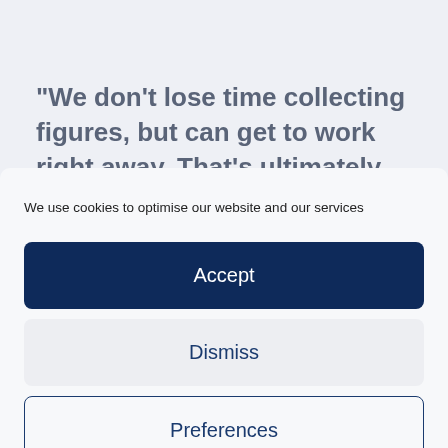"We don't lose time collecting figures, but can get to work right away. That's ultimately what interests the shareholders"
We use cookies to optimise our website and our services
Accept
Dismiss
Preferences
Cookie policy  Privacy policy